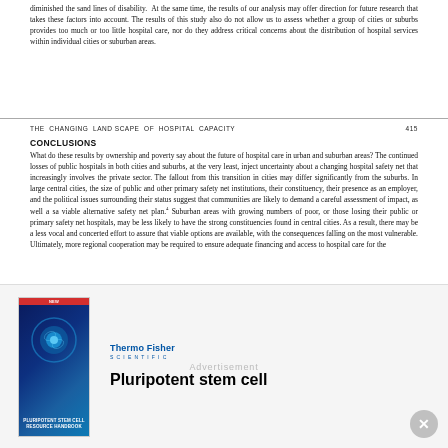diminished the sand lines of disability. At the same time, the results of our analysis may offer direction for future research that takes these factors into account. The results of this study also do not allow us to assess whether a group of cities or suburbs provides too much or too little hospital care, nor do they address critical concerns about the distribution of hospital services within individual cities or suburban areas.
THE CHANGING LANDSCAPE OF HOSPITAL CAPACITY    415
CONCLUSIONS
What do these results by ownership and poverty say about the future of hospital care in urban and suburban areas? The continued losses of public hospitals in both cities and suburbs, at the very least, inject uncertainty about a changing hospital safety net that increasingly involves the private sector. The fallout from this transition in cities may differ significantly from the suburbs. In large central cities, the size of public and other primary safety net institutions, their constituency, their presence as an employer, and the political issues surrounding their status suggest that communities are likely to demand a careful assessment of impact, as well a sa viable alternative safety net plan.4 Suburban areas with growing numbers of poor, or those losing their public or primary safety net hospitals, may be less likely to have the strong constituencies found in central cities. As a result, there may be a less vocal and concerted effort to assure that viable options are available, with the consequences falling on the most vulnerable. Ultimately, more regional cooperation may be required to ensure adequate financing and access to hospital care for the
[Figure (other): Advertisement banner for ThermoFisher Scientific featuring a Pluripotent Stem Cell Resource Handbook, with a blue glowing cell image on the book cover, ThermoFisher Scientific logo, and text 'Pluripotent stem cell']